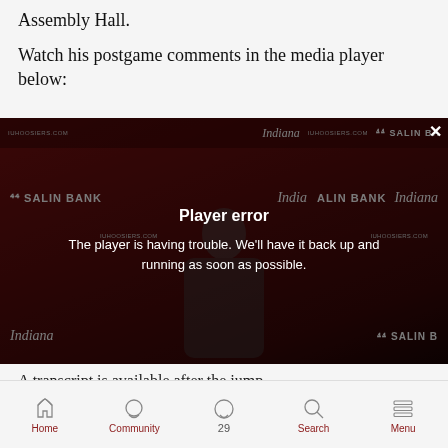Assembly Hall.
Watch his postgame comments in the media player below:
[Figure (screenshot): Video player showing a press conference background with Salin Bank and Indiana sponsors. An error overlay reads 'Player error' and 'The player is having trouble. We'll have it back up and running as soon as possible.' A close (X) button is in the upper right corner.]
A transcript is available after the jump
Home   Community   29   Search   Menu